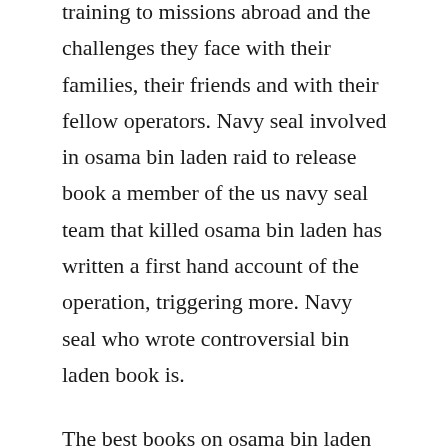training to missions abroad and the challenges they face with their families, their friends and with their fellow operators. Navy seal involved in osama bin laden raid to release book a member of the us navy seal team that killed osama bin laden has written a first hand account of the operation, triggering more. Navy seal who wrote controversial bin laden book is.
The best books on osama bin laden five books expert. Navy seal who wrote bin laden raid book must pay government at. He alone